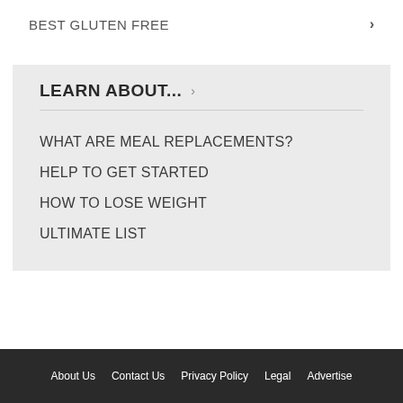BEST GLUTEN FREE
LEARN ABOUT...
WHAT ARE MEAL REPLACEMENTS?
HELP TO GET STARTED
HOW TO LOSE WEIGHT
ULTIMATE LIST
About Us   Contact Us   Privacy Policy   Legal   Advertise